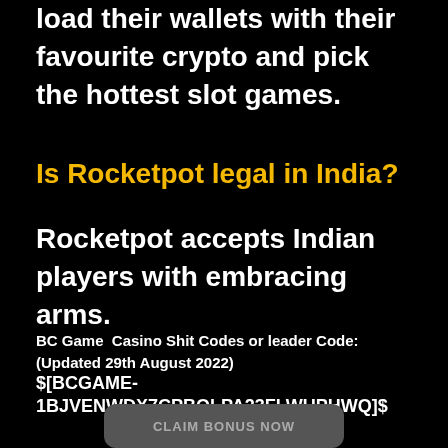load their wallets with their favourite crypto and pick the hottest slot games.
Is Rocketpot legal in India?
Rocketpot accepts Indian players with embracing arms.
BC Game  Casino Shit Codes or leader Code: (Updated 29th August 2022)
$[BCGAME-1BJVENWDX7CPBQLPA23FLWUPHWQ]$
CLAIM BONUS NOW